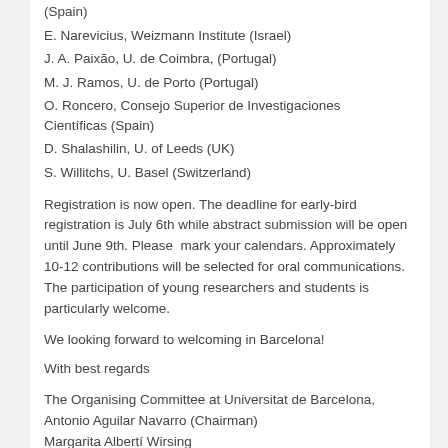(Spain)
E. Narevicius, Weizmann Institute (Israel)
J. A. Paixão, U. de Coimbra, (Portugal)
M. J. Ramos, U. de Porto (Portugal)
O. Roncero, Consejo Superior de Investigaciones Científicas (Spain)
D. Shalashilin, U. of Leeds (UK)
S. Willitchs, U. Basel (Switzerland)
Registration is now open. The deadline for early-bird registration is July 6th while abstract submission will be open until June 9th. Please  mark your calendars. Approximately 10-12 contributions will be selected for oral communications. The participation of young researchers and students is particularly welcome.
We looking forward to welcoming in Barcelona!
With best regards
The Organising Committee at Universitat de Barcelona, Antonio Aguilar Navarro (Chairman) Margarita Albertí Wirsing Miguel González Pérez Fermín Huarte-Larrañaga (Secretary) Estefanía López Marne